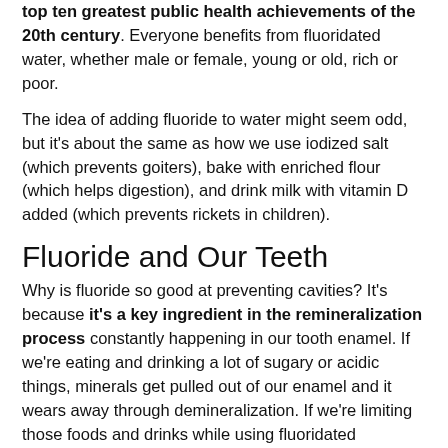top ten greatest public health achievements of the 20th century. Everyone benefits from fluoridated water, whether male or female, young or old, rich or poor.
The idea of adding fluoride to water might seem odd, but it's about the same as how we use iodized salt (which prevents goiters), bake with enriched flour (which helps digestion), and drink milk with vitamin D added (which prevents rickets in children).
Fluoride and Our Teeth
Why is fluoride so good at preventing cavities? It's because it's a key ingredient in the remineralization process constantly happening in our tooth enamel. If we're eating and drinking a lot of sugary or acidic things, minerals get pulled out of our enamel and it wears away through demineralization. If we're limiting those foods and drinks while using fluoridated toothpaste and drinking fluoridated water, then we keep our teeth